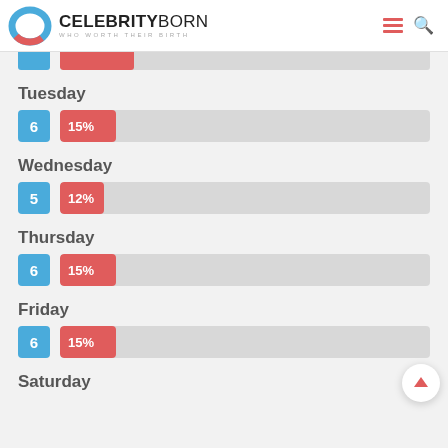CELEBRITYBORN — WHO WORTH THEIR BIRTH
[Figure (bar-chart): Celebrity births by day of week]